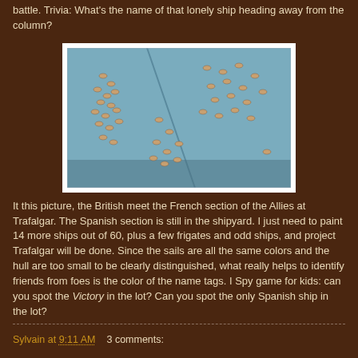battle. Trivia: What's the name of that lonely ship heading away from the column?
[Figure (photo): Top-down view of numerous small model sailing ships arranged on a blue surface, representing the Battle of Trafalgar fleet formations.]
It this picture, the British meet the French section of the Allies at Trafalgar. The Spanish section is still in the shipyard. I just need to paint 14 more ships out of 60, plus a few frigates and odd ships, and project Trafalgar will be done. Since the sails are all the same colors and the hull are too small to be clearly distinguished, what really helps to identify friends from foes is the color of the name tags. I Spy game for kids: can you spot the Victory in the lot? Can you spot the only Spanish ship in the lot?
Sylvain at 9:11 AM    3 comments: